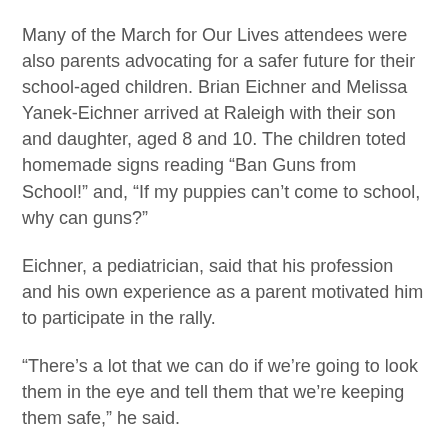Many of the March for Our Lives attendees were also parents advocating for a safer future for their school-aged children. Brian Eichner and Melissa Yanek-Eichner arrived at Raleigh with their son and daughter, aged 8 and 10. The children toted homemade signs reading “Ban Guns from School!” and, “If my puppies can’t come to school, why can guns?”
Eichner, a pediatrician, said that his profession and his own experience as a parent motivated him to participate in the rally.
“There’s a lot that we can do if we’re going to look them in the eye and tell them that we’re keeping them safe,” he said.